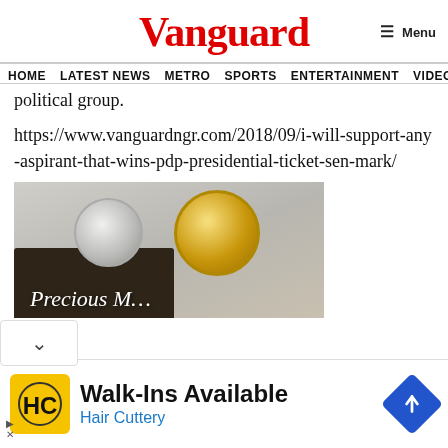Vanguard
HOME  LATEST NEWS  METRO  SPORTS  ENTERTAINMENT  VIDEOS  political group.
political group.
https://www.vanguardngr.com/2018/09/i-will-support-any-aspirant-that-wins-pdp-presidential-ticket-sen-mark/
[Figure (photo): Advertisement image showing gold and silver coins with a dark card labeled 'Precious M...' (Precious Metals).]
[Figure (photo): Bottom advertisement for Hair Cuttery: 'Walk-Ins Available' with yellow HC logo and blue navigation diamond icon.]